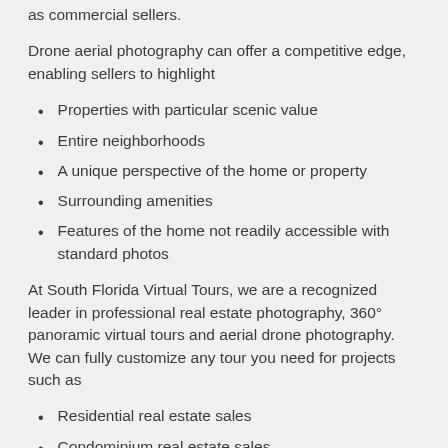as commercial sellers.
Drone aerial photography can offer a competitive edge, enabling sellers to highlight
Properties with particular scenic value
Entire neighborhoods
A unique perspective of the home or property
Surrounding amenities
Features of the home not readily accessible with standard photos
At South Florida Virtual Tours, we are a recognized leader in professional real estate photography, 360° panoramic virtual tours and aerial drone photography. We can fully customize any tour you need for projects such as
Residential real estate sales
Condominium real estate sales